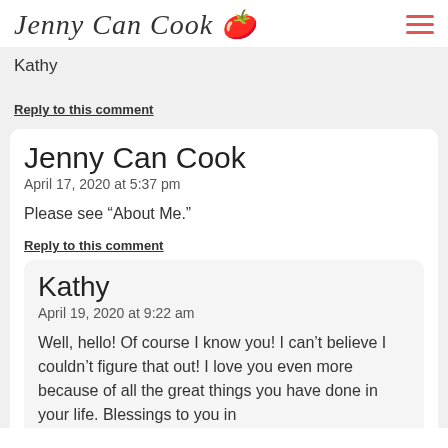Jenny Can Cook
Kathy
Reply to this comment
Jenny Can Cook
April 17, 2020 at 5:37 pm
Please see “About Me.”
Reply to this comment
Kathy
April 19, 2020 at 9:22 am
Well, hello! Of course I know you! I can’t believe I couldn’t figure that out! I love you even more because of all the great things you have done in your life. Blessings to you in